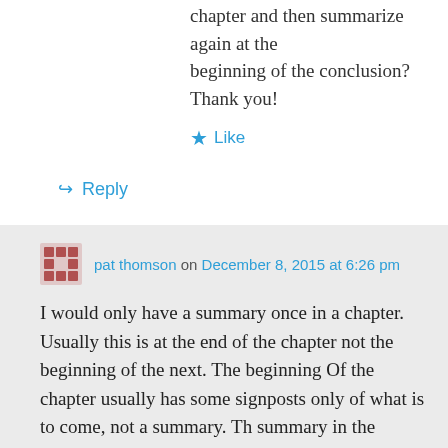chapter and then summarize again at the beginning of the conclusion?
Thank you!
★ Like
↪ Reply
pat thomson on December 8, 2015 at 6:26 pm
I would only have a summary once in a chapter. Usually this is at the end of the chapter not the beginning of the next. The beginning Of the chapter usually has some signposts only of what is to come, not a summary. Th summary in the conclusion is usually brief.